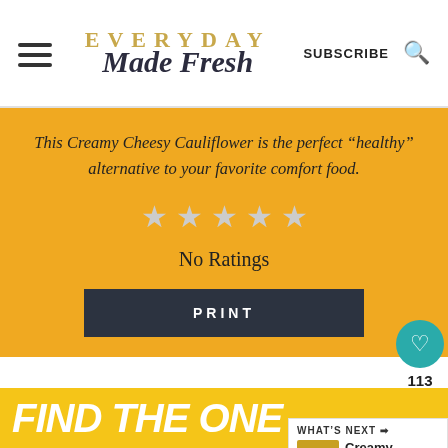EVERYDAY Made Fresh | SUBSCRIBE
This Creamy Cheesy Cauliflower is the perfect “healthy” alternative to your favorite comfort food.
No Ratings
PRINT
[Figure (screenshot): Advertisement banner showing 'DON'T TEXT' in large yellow text on black background with close button]
WHAT'S NEXT → Creamy Cheesy Garl...
[Figure (screenshot): Bottom advertisement bar showing 'FIND THE ONE' text with dog image]